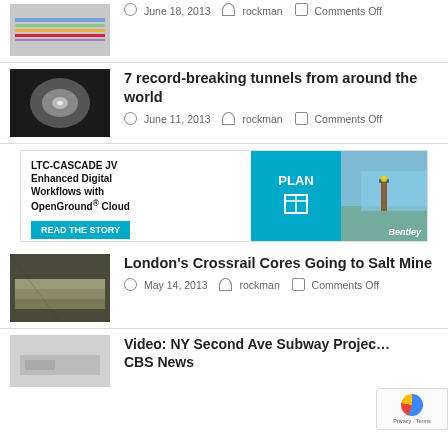[Figure (photo): Thumbnail image of tunnel profile chart with colored lines]
June 18, 2013   rockman   Comments Off
[Figure (photo): Dark tunnel interior photo looking down tube]
7 record-breaking tunnels from around the world
June 11, 2013   rockman   Comments Off
[Figure (infographic): Bentley LTC-CASCADE JV advertisement banner for OpenGround Cloud]
[Figure (photo): Storage room with stacked pallets/cores]
London's Crossrail Cores Going to Salt Mine
May 14, 2013   rockman   Comments Off
[Figure (photo): Subway construction site thumbnail]
Video: NY Second Ave Subway Project on CBS News